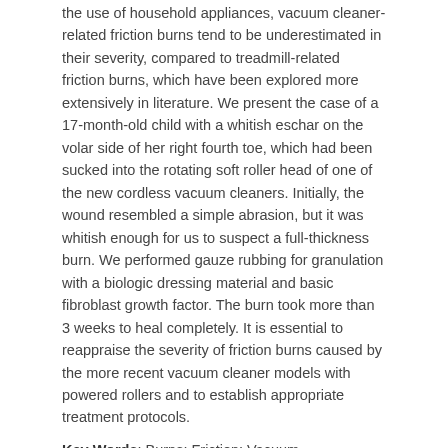the use of household appliances, vacuum cleaner-related friction burns tend to be underestimated in their severity, compared to treadmill-related friction burns, which have been explored more extensively in literature. We present the case of a 17-month-old child with a whitish eschar on the volar side of her right fourth toe, which had been sucked into the rotating soft roller head of one of the new cordless vacuum cleaners. Initially, the wound resembled a simple abrasion, but it was whitish enough for us to suspect a full-thickness burn. We performed gauze rubbing for granulation with a biologic dressing material and basic fibroblast growth factor. The burn took more than 3 weeks to heal completely. It is essential to reappraise the severity of friction burns caused by the more recent vacuum cleaner models with powered rollers and to establish appropriate treatment protocols.
Key Words: Burns; Friction; Vacuum.
Introduction
Friction burns are commonly encountered in motorcycle or bicycle riders in traffic accidents. Other common causes include sports injuries, the use of an exercise treadmill at